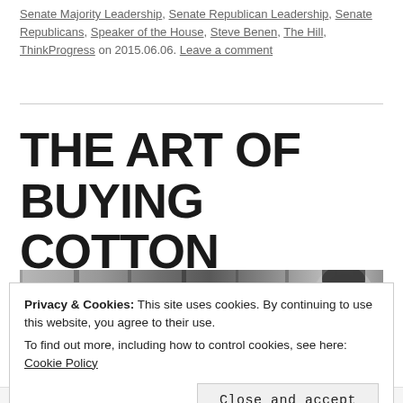Senate Majority Leadership, Senate Republican Leadership, Senate Republicans, Speaker of the House, Steve Benen, The Hill, ThinkProgress on 2015.06.06. Leave a comment
THE ART OF BUYING COTTON
[Figure (photo): Black and white photograph of a man's face, partially visible on the right side, against a dark vertical-striped background.]
Privacy & Cookies: This site uses cookies. By continuing to use this website, you agree to their use.
To find out more, including how to control cookies, see here: Cookie Policy
Close and accept